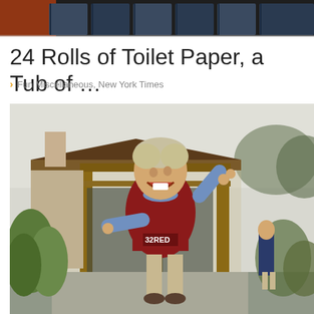[Figure (photo): Top strip showing people in jeans, partial cropped view at top of page]
24 Rolls of Toilet Paper, a Tub of …
Fun Miscellaneous, New York Times
[Figure (photo): A young boy in a maroon soccer jersey with 32RED sponsor running joyfully with arms raised, in front of a house with wooden pergola structure, adult visible in background]